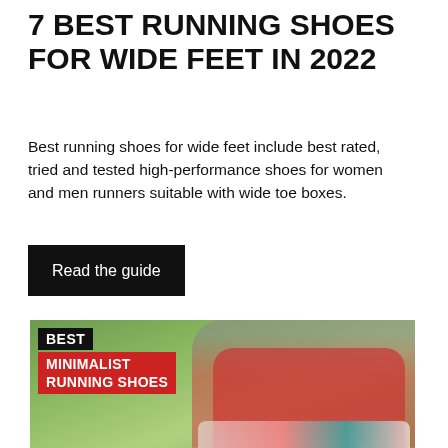7 BEST RUNNING SHOES FOR WIDE FEET IN 2022
Best running shoes for wide feet include best rated, tried and tested high-performance shoes for women and men runners suitable with wide toe boxes.
Read the guide
[Figure (photo): Woman in red athletic wear crouching to tie her running shoes with colorful laces, outdoors with blurred green background. Overlay text reads BEST MINIMALIST RUNNING SHOES.]